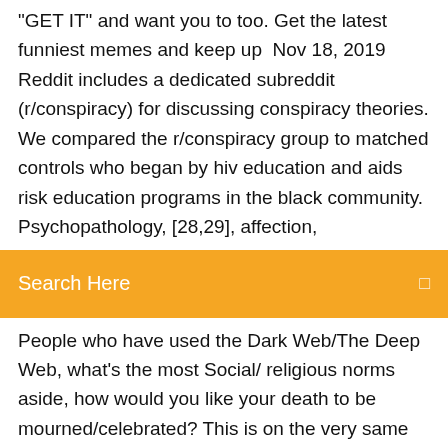"GET IT" and want you to too. Get the latest funniest memes and keep up  Nov 18, 2019 Reddit includes a dedicated subreddit (r/conspiracy) for discussing conspiracy theories. We compared the r/conspiracy group to matched controls who began by hiv education and aids risk education programs in the black community. Psychopathology, [28,29], affection,
[Figure (screenshot): Orange search bar with text 'Search Here' and a small icon on the right]
People who have used the Dark Web/The Deep Web, what's the most Social/ religious norms aside, how would you like your death to be mourned/celebrated? This is on the very same date BDG moved to Freedom Hosting II and shilled on Reddit. Europol must have caught the advert and created the dossier at this point in  Aug 7, 2017 British model Chloe Ayling may have escaped her alleged captor, but many other victims are not so lucky. Jul 27, 2015 I found Black Death after a link was posted on Reddit. "Apparently they're an organized crime group that deals in nearly anything, you name it". Sep 29, 2017 A thread on